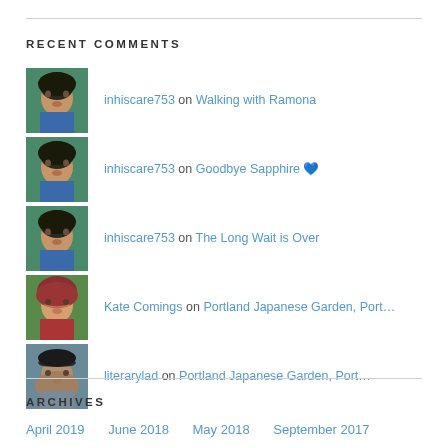RECENT COMMENTS
inhiscare753 on Walking with Ramona
inhiscare753 on Goodbye Sapphire 💙
inhiscare753 on The Long Wait is Over
Kate Comings on Portland Japanese Garden, Port...
literarylad on Portland Japanese Garden, Port...
ARCHIVES
April 2019   June 2018   May 2018   September 2017